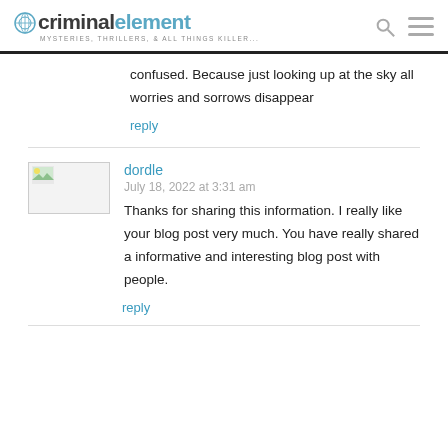criminalelement — MYSTERIES, THRILLERS, & ALL THINGS KILLER...
confused. Because just looking up at the sky all worries and sorrows disappear
reply
[Figure (other): User avatar placeholder image with small landscape thumbnail]
dordle
July 18, 2022 at 3:31 am
Thanks for sharing this information. I really like your blog post very much. You have really shared a informative and interesting blog post with people.
reply